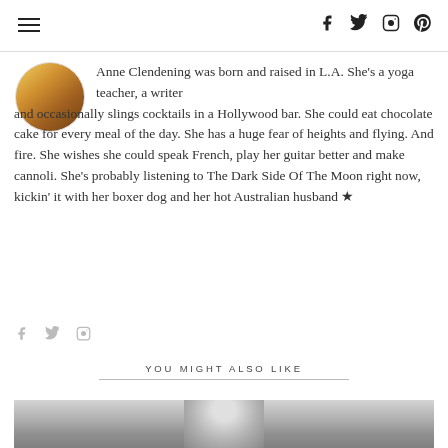Navigation and social icons header
[Figure (photo): Circular avatar photo of Anne Clendening with colorful floral/warm tones]
Anne Clendening was born and raised in L.A. She's a yoga teacher, a writer and occasionally slings cocktails in a Hollywood bar. She could eat chocolate cake for every meal of the day. She has a huge fear of heights and flying. And fire. She wishes she could speak French, play her guitar better and make cannoli. She's probably listening to The Dark Side Of The Moon right now, kickin' it with her boxer dog and her hot Australian husband ★
Social icons: f, twitter bird, instagram
YOU MIGHT ALSO LIKE
[Figure (photo): Black and white portrait photo partially visible at bottom of page]